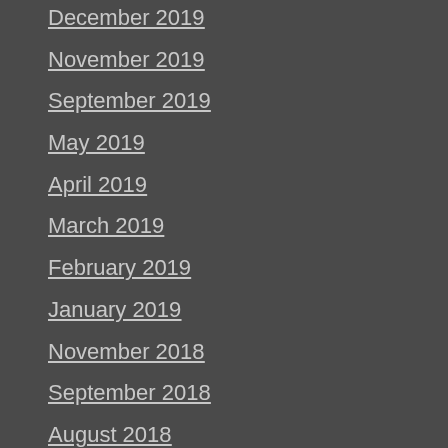December 2019
November 2019
September 2019
May 2019
April 2019
March 2019
February 2019
January 2019
November 2018
September 2018
August 2018
June 2018
May 2018
April 2018
February 2018
January 2018